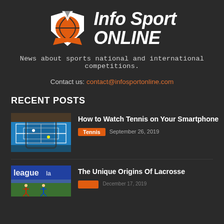[Figure (logo): Info Sport Online logo with basketball icon and italic white text 'Info Sport ONLINE']
News about sports national and international competitions.
Contact us: contact@infosportonline.com
RECENT POSTS
[Figure (photo): Person holding smartphone showing tennis court match]
How to Watch Tennis on Your Smartphone
Tennis  September 26, 2019
[Figure (photo): Lacrosse league action shot with players on field]
The Unique Origins Of Lacrosse
December 17, 2019